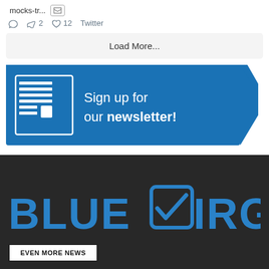mocks-tr...
2  12  Twitter
Load More...
[Figure (infographic): Blue arrow-shaped banner with newsletter icon and text: Sign up for our newsletter!]
[Figure (logo): Blue Virginia logo on dark background with blue checkbox replacing the V in Virginia]
EVEN MORE NEWS